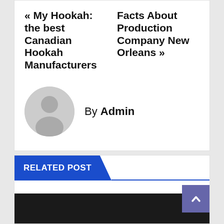« My Hookah: the best Canadian Hookah Manufacturers
Facts About Production Company New Orleans »
By Admin
[Figure (illustration): Grey circular avatar/user profile placeholder icon]
RELATED POST
[Figure (photo): Dark/black background image at bottom of related post section]